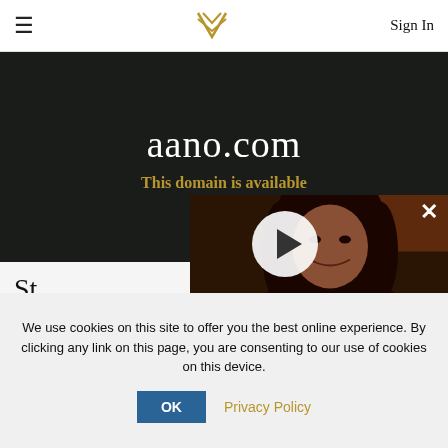≡  [logo]  Sign In
aano.com
This domain is available
[Figure (photo): Video popup overlay showing a person with long curly dark hair wearing a patterned black shirt, with a play button in the center and an X close button in the top right. Background shows a dark wooden interior.]
St...
LIM...
Extr...
We use cookies on this site to offer you the best online experience. By clicking any link on this page, you are consenting to our use of cookies on this device.
OK  Privacy Policy